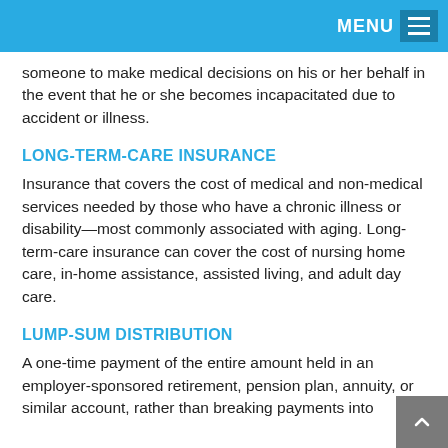MENU
someone to make medical decisions on his or her behalf in the event that he or she becomes incapacitated due to accident or illness.
LONG-TERM-CARE INSURANCE
Insurance that covers the cost of medical and non-medical services needed by those who have a chronic illness or disability—most commonly associated with aging. Long-term-care insurance can cover the cost of nursing home care, in-home assistance, assisted living, and adult day care.
LUMP-SUM DISTRIBUTION
A one-time payment of the entire amount held in an employer-sponsored retirement, pension plan, annuity, or similar account, rather than breaking payments into smaller installments.